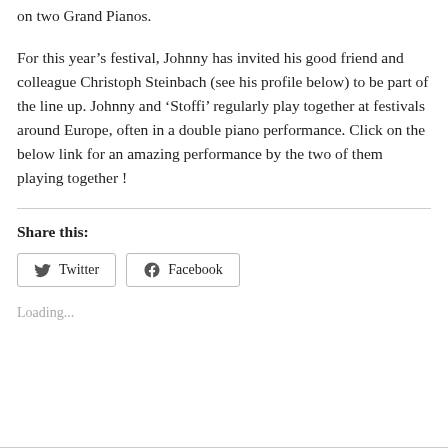on two Grand Pianos.
For this year's festival, Johnny has invited his good friend and colleague Christoph Steinbach (see his profile below) to be part of the line up. Johnny and ‘Stoffi’ regularly play together at festivals around Europe, often in a double piano performance. Click on the below link for an amazing performance by the two of them playing together !
Share this:
Twitter  Facebook
Loading...